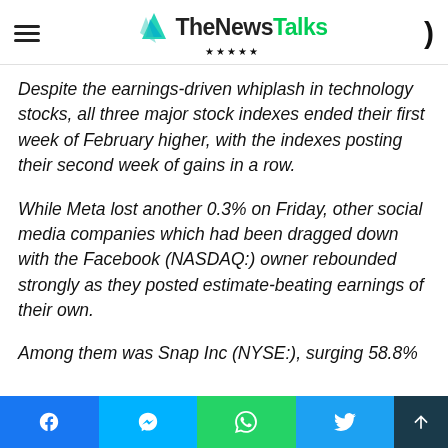TheNewsTalks
Despite the earnings-driven whiplash in technology stocks, all three major stock indexes ended their first week of February higher, with the indexes posting their second week of gains in a row.
While Meta lost another 0.3% on Friday, other social media companies which had been dragged down with the Facebook (NASDAQ:) owner rebounded strongly as they posted estimate-beating earnings of their own.
Among them was Snap Inc (NYSE:), surging 58.8%
Share buttons: Facebook, Messenger, WhatsApp, Twitter